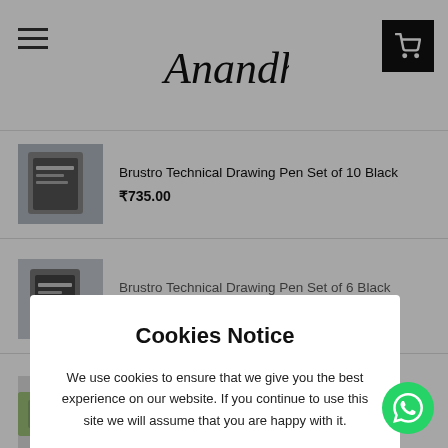[Figure (logo): Anandha store logo in cursive/script font with hamburger menu on left and cart button on right]
Brustro Technical Drawing Pen Set of 10 Black
₹735.00
Brustro Technical Drawing Pen Set of 6 Black
₹465.00
Cookies Notice
We use cookies to ensure that we give you the best experience on our website. If you continue to use this site we will assume that you are happy with it.
Yes, I Accept
Tulip Tie-Dye Mini Kit Neon (32554)